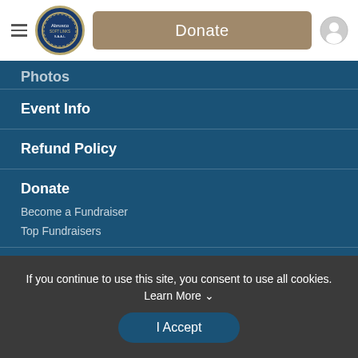Donate
Photos
Event Info
Refund Policy
Donate
Become a Fundraiser
Top Fundraisers
FAQS
If you continue to use this site, you consent to use all cookies. Learn More ∨
I Accept